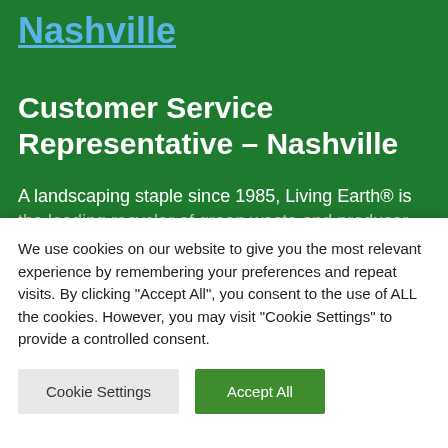Nashville
Customer Service Representative – Nashville
A landscaping staple since 1985, Living Earth® is the leading recycler of green waste and producer...
We use cookies on our website to give you the most relevant experience by remembering your preferences and repeat visits. By clicking "Accept All", you consent to the use of ALL the cookies. However, you may visit "Cookie Settings" to provide a controlled consent.
Cookie Settings | Accept All